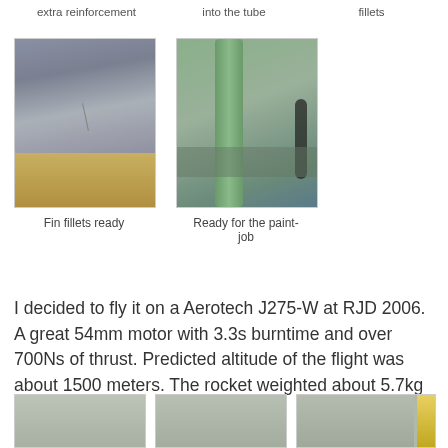extra reinforcement
into the tube
fillets
[Figure (photo): Close-up photo of plywood fin with epoxy work, showing wood grain and fin surface preparation]
Fin fillets ready
[Figure (photo): Photo of green-painted rocket body tube standing upright, ready for paint job]
Ready for the paint-job
I decided to fly it on a Aerotech J275-W at RJD 2006. A great 54mm motor with 3.3s burntime and over 700Ns of thrust. Predicted altitude of the flight was about 1500 meters. The rocket weighted about 5.7kg fully loaded.
[Figure (photo): Partial bottom photo 1 of rocket build]
[Figure (photo): Partial bottom photo 2 of rocket build]
[Figure (photo): Partial bottom photo 3 of rocket build]